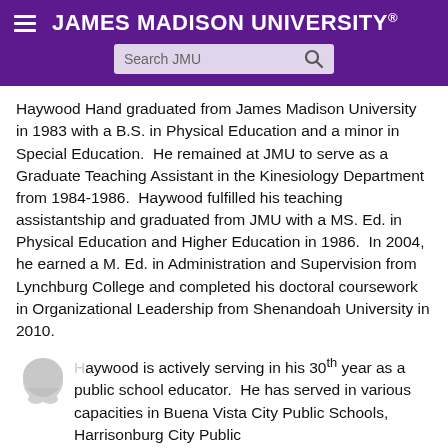JAMES MADISON UNIVERSITY
Haywood Hand graduated from James Madison University in 1983 with a B.S. in Physical Education and a minor in Special Education.  He remained at JMU to serve as a Graduate Teaching Assistant in the Kinesiology Department from 1984-1986.  Haywood fulfilled his teaching assistantship and graduated from JMU with a MS. Ed. in Physical Education and Higher Education in 1986.  In 2004, he earned a M. Ed. in Administration and Supervision from Lynchburg College and completed his doctoral coursework in Organizational Leadership from Shenandoah University in 2010.
Haywood is actively serving in his 30th year as a public school educator.  He has served in various capacities in Buena Vista City Public Schools, Harrisonburg City Public